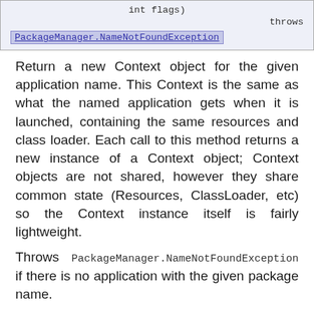int flags)
    throws PackageManager.NameNotFoundException
Return a new Context object for the given application name. This Context is the same as what the named application gets when it is launched, containing the same resources and class loader. Each call to this method returns a new instance of a Context object; Context objects are not shared, however they share common state (Resources, ClassLoader, etc) so the Context instance itself is fairly lightweight.
Throws PackageManager.NameNotFoundException if there is no application with the given package name.
Throws SecurityException if the Context requested can not be loaded into the caller's process for security reasons (see CONTEXT_INCLUDE_CODE for more information).
Parameters:
packageName - Name of the application's package.
flags - Option flags, one of CONTEXT_INCLUDE_CODE or ...